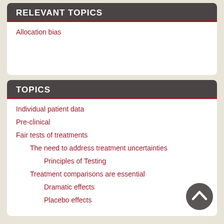RELEVANT TOPICS
Allocation bias
TOPICS
Individual patient data
Pre-clinical
Fair tests of treatments
The need to address treatment uncertainties
Principles of Testing
Treatment comparisons are essential
Dramatic effects
Placebo effects